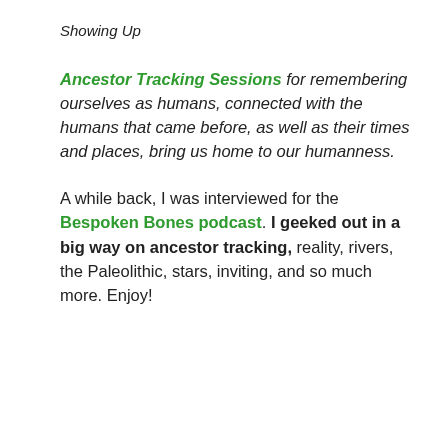Showing Up
Ancestor Tracking Sessions for remembering ourselves as humans, connected with the humans that came before, as well as their times and places, bring us home to our humanness.
A while back, I was interviewed for the Bespoken Bones podcast. I geeked out in a big way on ancestor tracking, reality, rivers, the Paleolithic, stars, inviting, and so much more. Enjoy!